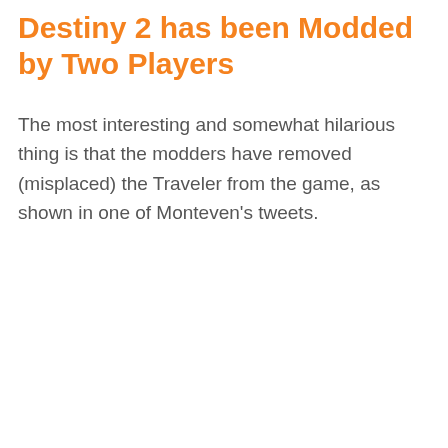Destiny 2 has been Modded by Two Players
The most interesting and somewhat hilarious thing is that the modders have removed (misplaced) the Traveler from the game, as shown in one of Monteven's tweets.